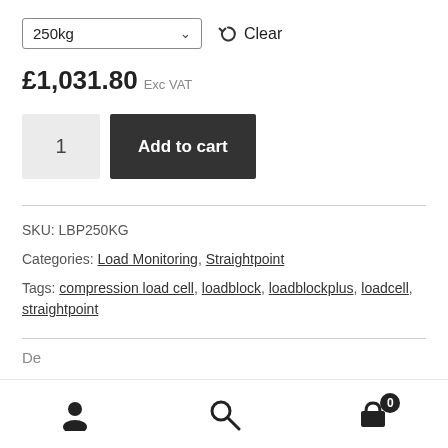250kg (dropdown) | Clear
£1,031.80 Exc VAT
1 | Add to cart
SKU: LBP250KG
Categories: Load Monitoring, Straightpoint
Tags: compression load cell, loadblock, loadblockplus, loadcell, straightpoint